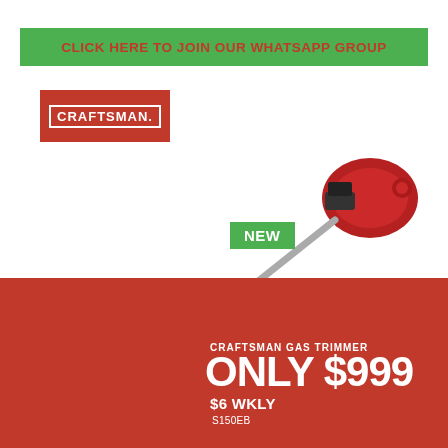CLICK HERE TO JOIN OUR WHATSAPP GROUP
[Figure (logo): Craftsman brand logo — red rectangle with white bordered text CRAFTSMAN.]
[Figure (photo): Craftsman gas string trimmer with red engine head, black shaft and handle, silver straight shaft extending diagonally across the page. Green NEW badge overlaid on the product.]
CRAFTSMAN GAS TRIMMER
ONLY $999
$6 WKLY
S150EB